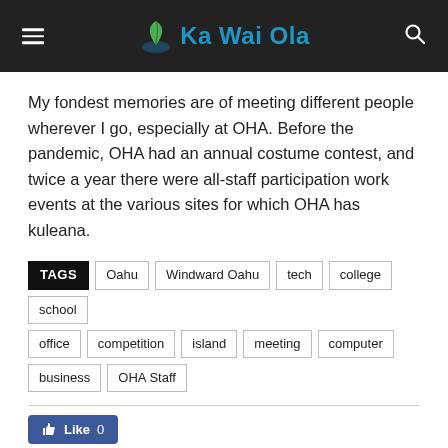Ka Wai Ola
My fondest memories are of meeting different people wherever I go, especially at OHA. Before the pandemic, OHA had an annual costume contest, and twice a year there were all-staff participation work events at the various sites for which OHA has kuleana.
TAGS: Oahu, Windward Oahu, tech, college, school, office, competition, island, meeting, computer, business, OHA Staff
Like 0
Social share buttons: Facebook, Twitter, Pinterest, LinkedIn, Email, Print